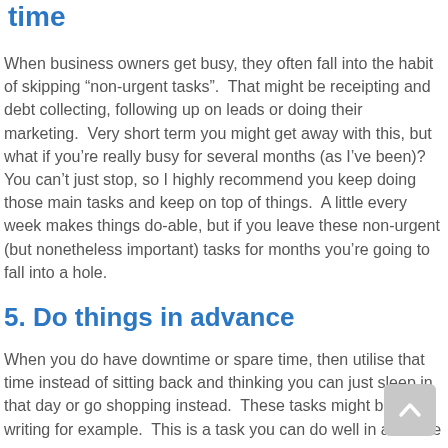time
When business owners get busy, they often fall into the habit of skipping “non-urgent tasks”.  That might be receipting and debt collecting, following up on leads or doing their marketing.  Very short term you might get away with this, but what if you’re really busy for several months (as I’ve been)?  You can’t just stop, so I highly recommend you keep doing those main tasks and keep on top of things.  A little every week makes things do-able, but if you leave these non-urgent (but nonetheless important) tasks for months you’re going to fall into a hole.
5. Do things in advance
When you do have downtime or spare time, then utilise that time instead of sitting back and thinking you can just sleep in that day or go shopping instead.  These tasks might be blog writing for example.  This is a task you can do well in advance